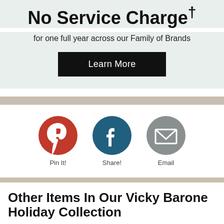No Service Charge†
for one full year across our Family of Brands
Learn More
[Figure (infographic): Three social sharing icons: Pinterest (red circle with P logo), Facebook (dark teal circle with f logo), Email (gray circle with envelope icon). Below each icon are labels: Pin It!, Share!, Email.]
Other Items In Our Vicky Barone Holiday Collection